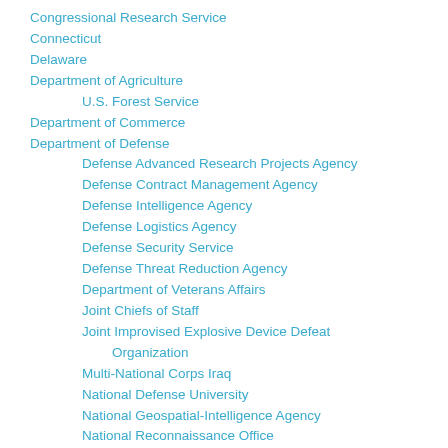Congressional Research Service
Connecticut
Delaware
Department of Agriculture
U.S. Forest Service
Department of Commerce
Department of Defense
Defense Advanced Research Projects Agency
Defense Contract Management Agency
Defense Intelligence Agency
Defense Logistics Agency
Defense Security Service
Defense Threat Reduction Agency
Department of Veterans Affairs
Joint Chiefs of Staff
Joint Improvised Explosive Device Defeat Organization
Multi-National Corps Iraq
National Defense University
National Geospatial-Intelligence Agency
National Reconnaissance Office
National Security Agency